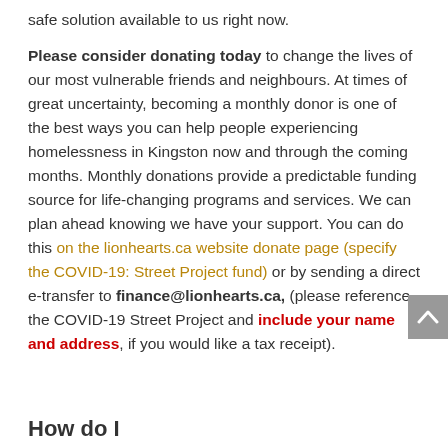solution. This is more expensive, but it is the only safe solution available to us right now.
Please consider donating today to change the lives of our most vulnerable friends and neighbours. At times of great uncertainty, becoming a monthly donor is one of the best ways you can help people experiencing homelessness in Kingston now and through the coming months. Monthly donations provide a predictable funding source for life-changing programs and services. We can plan ahead knowing we have your support. You can do this on the lionhearts.ca website donate page (specify the COVID-19: Street Project fund) or by sending a direct e-transfer to finance@lionhearts.ca, (please reference the COVID-19 Street Project and include your name and address, if you would like a tax receipt).
How do I...